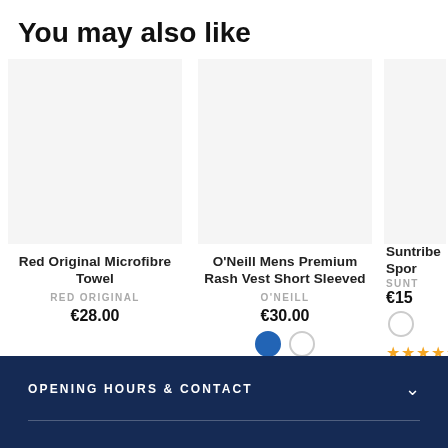You may also like
Red Original Microfibre Towel
RED ORIGINAL
€28.00
O'Neill Mens Premium Rash Vest Short Sleeved
O'NEILL
€30.00
Suntribe Spor...
SUNT...
€15...
OPENING HOURS & CONTACT